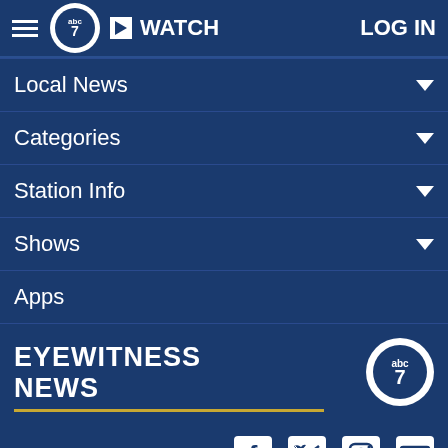ABC7 Eyewitness News — WATCH | LOG IN
Local News
Categories
Station Info
Shows
Apps
[Figure (logo): ABC7 Eyewitness News logo with gold underline]
Follow Us: [Facebook] [Twitter] [Instagram] [Email]
Privacy Policy | Do Not Sell My Personal Information | Children's Privacy Policy | Your California Privacy Rights · Terms of Use